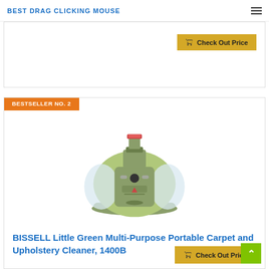BEST DRAG CLICKING MOUSE
[Figure (photo): Partial view of a product card with a Check Out Price button]
BESTSELLER NO. 2
[Figure (photo): BISSELL Little Green Multi-Purpose Portable Carpet and Upholstery Cleaner 1400B product image - a compact green carpet cleaner]
BISSELL Little Green Multi-Purpose Portable Carpet and Upholstery Cleaner, 1400B
$123.59 ✓Prime
Check Out Price